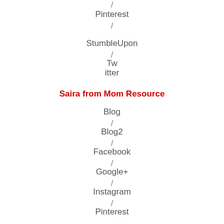/
Pinterest
/
StumbleUpon
/
Twitter
Saira from Mom Resource
Blog
/
Blog2
/
Facebook
/
Google+
/
Instagram
/
Pinterest
/
Twitter